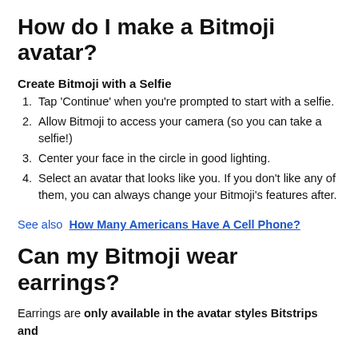How do I make a Bitmoji avatar?
Create Bitmoji with a Selfie
Tap 'Continue' when you're prompted to start with a selfie.
Allow Bitmoji to access your camera (so you can take a selfie!)
Center your face in the circle in good lighting.
Select an avatar that looks like you. If you don't like any of them, you can always change your Bitmoji's features after.
See also  How Many Americans Have A Cell Phone?
Can my Bitmoji wear earrings?
Earrings are only available in the avatar styles Bitstrips and